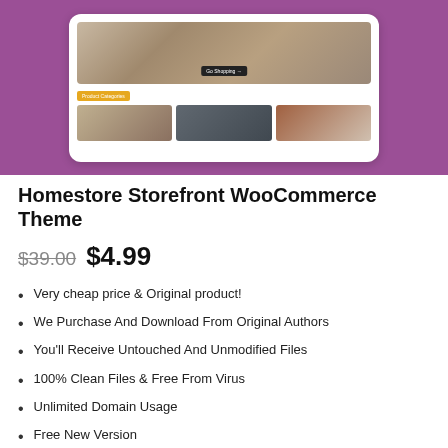[Figure (screenshot): Screenshot of Homestore WooCommerce theme on purple background, showing a browser mockup with a furniture/home decor e-commerce site. Features a hero section with cushion/sofa image and 'Go Shopping' button, a 'Product Categories' label in yellow, and three product thumbnail images below.]
Homestore Storefront WooCommerce Theme
$39.00  $4.99
Very cheap price & Original product!
We Purchase And Download From Original Authors
You'll Receive Untouched And Unmodified Files
100% Clean Files & Free From Virus
Unlimited Domain Usage
Free New Version